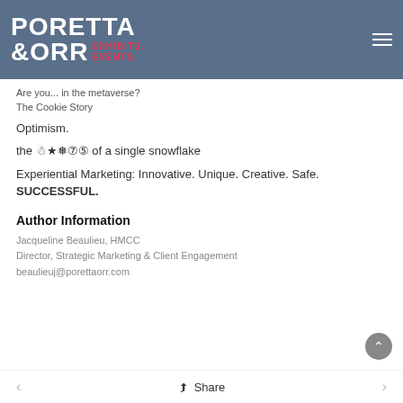PORETTA & ORR EXHIBITS. EVENTS.
Are you... in the metaverse?
The Cookie Story
Optimism.
the 🌨️❄️ of a single snowflake
Experiential Marketing: Innovative. Unique. Creative. Safe. SUCCESSFUL.
Author Information
Jacqueline Beaulieu, HMCC
Director, Strategic Marketing & Client Engagement
beaulieuj@porettaorr.com
< Share >